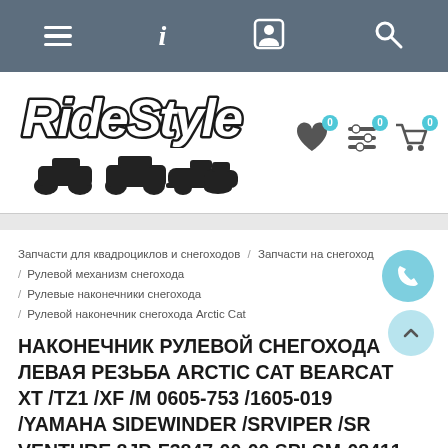Navigation bar with menu, info, profile, and search icons
[Figure (logo): RideStyle logo with stylized text and vehicle silhouettes (ATV, snowmobile, watercraft). Right side shows 3 icon badges (heart, filter, cart) with 0 counts.]
Запчасти для квадроциклов и снегоходов / Запчасти на снегоход / Рулевой механизм снегохода / Рулевые наконечники снегохода / Рулевой наконечник снегохода Arctic Cat
НАКОНЕЧНИК РУЛЕВОЙ СНЕГОХОДА ЛЕВАЯ РЕЗЬБА ARCTIC CAT BEARCAT XT /TZ1 /XF /M 0605-753 /1605-019 /YAMAHA SIDEWINDER /SRVIPER /SR VENTURE 8JP-F3847-00-00 SPI SM-08411 /12-31003